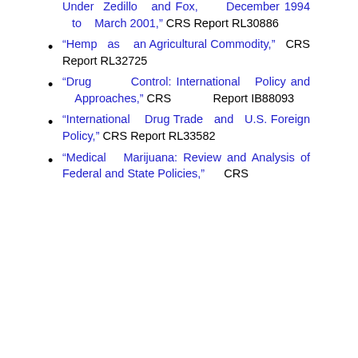Under Zedillo and Fox, December 1994 to March 2001,” CRS Report RL30886
“Hemp as an Agricultural Commodity,” CRS Report RL32725
“Drug Control: International Policy and Approaches,” CRS Report IB88093
“International Drug Trade and U.S. Foreign Policy,” CRS Report RL33582
“Medical Marijuana: Review and Analysis of Federal and State Policies,” CRS